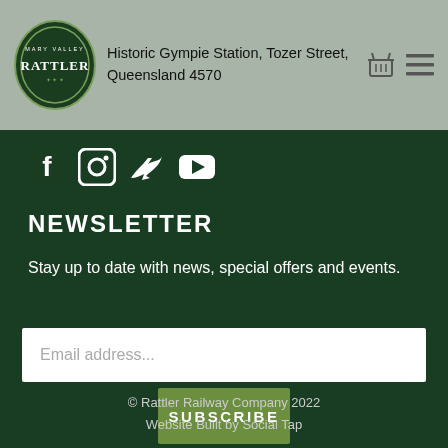Historic Gympie Station, Tozer Street, Queensland 4570
[Figure (logo): Mary Valley Rattler circular logo with decorative border]
[Figure (infographic): Social media icons: Facebook, Instagram, Twitter, YouTube]
NEWSLETTER
Stay up to date with news, special offers and events.
Email address...
SUBSCRIBE
© Rattler Railway Company 2022
Website Built by Social Tap